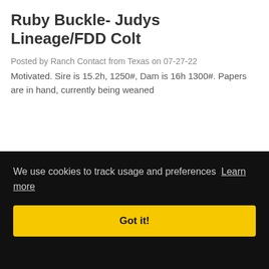Ruby Buckle- Judys Lineage/FDD Colt
Posted by Ranch Contact from Texas on 07-27-22
Motivated. Sire is 15.2h, 1250#, Dam is 16h 1300#. Papers are in hand, currently being weaned
We use cookies to track usage and preferences  Learn more
Got it!